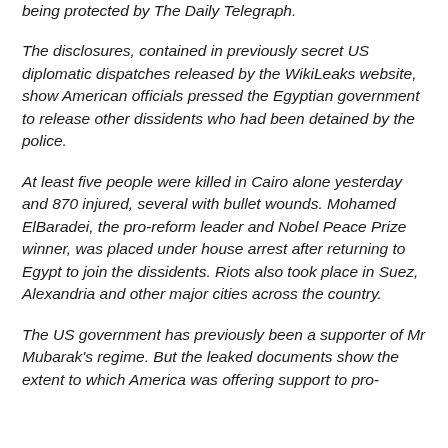being protected by The Daily Telegraph.
The disclosures, contained in previously secret US diplomatic dispatches released by the WikiLeaks website, show American officials pressed the Egyptian government to release other dissidents who had been detained by the police.
At least five people were killed in Cairo alone yesterday and 870 injured, several with bullet wounds. Mohamed ElBaradei, the pro-reform leader and Nobel Peace Prize winner, was placed under house arrest after returning to Egypt to join the dissidents. Riots also took place in Suez, Alexandria and other major cities across the country.
The US government has previously been a supporter of Mr Mubarak's regime. But the leaked documents show the extent to which America was offering support to pro-